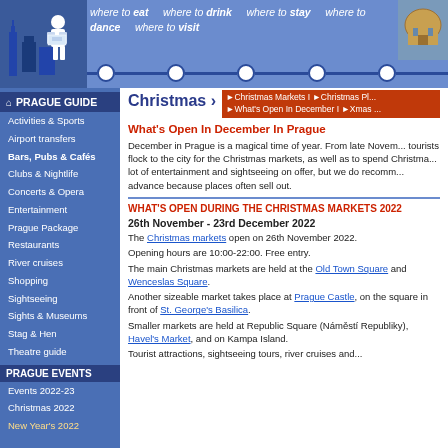where to eat | where to drink | where to stay | where to dance | where to visit
PRAGUE GUIDE
Activities & Sports
Airport transfers
Bars, Pubs & Cafés
Clubs & Nightlife
Concerts & Opera
Entertainment
Prague Package
Restaurants
River cruises
Shopping
Sightseeing
Sights & Museums
Stag & Hen
Theatre guide
PRAGUE EVENTS
Events 2022-23
Christmas 2022
New Year's 2022
Christmas ›
What's Open In December In Prague
December in Prague is a magical time of year. From late November, tourists flock to the city for the Christmas markets, as well as to spend Christmas in Prague. There is a lot of entertainment and sightseeing on offer, but we do recommend booking well in advance because places often sell out.
WHAT'S OPEN DURING THE CHRISTMAS MARKETS 2022
26th November - 23rd December 2022
The Christmas markets open on 26th November 2022.
Opening hours are 10:00-22:00. Free entry.
The main Christmas markets are held at the Old Town Square and Wenceslas Square.
Another sizeable market takes place at Prague Castle, on the square in front of St. George's Basilica.
Smaller markets are held at Republic Square (Náměstí Republiky), Havel's Market, and on Kampa Island.
Tourist attractions, sightseeing tours, river cruises and...